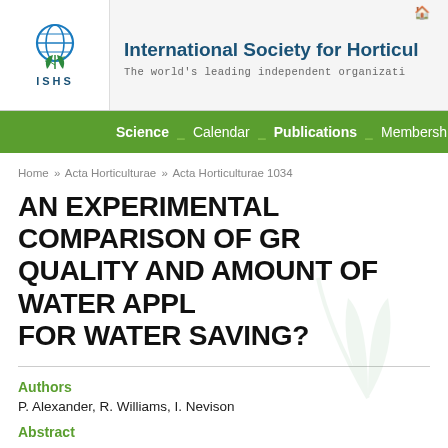[Figure (logo): ISHS globe and plant logo with 'ISHS' text below]
International Society for Horticulture — The world's leading independent organization
Science / Calendar / Publications / Membership
Home » Acta Horticulturae » Acta Horticulturae 1034
AN EXPERIMENTAL COMPARISON OF GR... QUALITY AND AMOUNT OF WATER APPL... FOR WATER SAVING?
Authors
P. Alexander, R. Williams, I. Nevison
Abstract